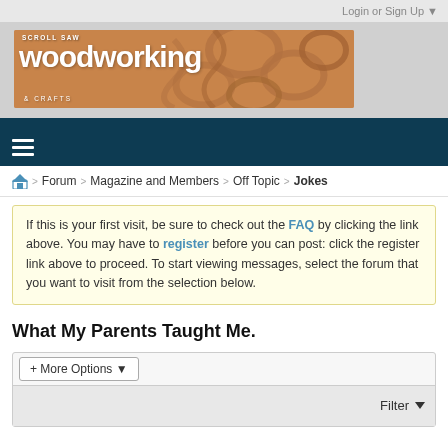Login or Sign Up ▼
[Figure (logo): Scroll Saw Woodworking & Crafts magazine banner logo with decorative wood scrollwork background]
≡ (hamburger navigation menu icon)
🏠 > Forum > Magazine and Members > Off Topic > Jokes
If this is your first visit, be sure to check out the FAQ by clicking the link above. You may have to register before you can post: click the register link above to proceed. To start viewing messages, select the forum that you want to visit from the selection below.
What My Parents Taught Me.
+ More Options ▼
Filter ▼